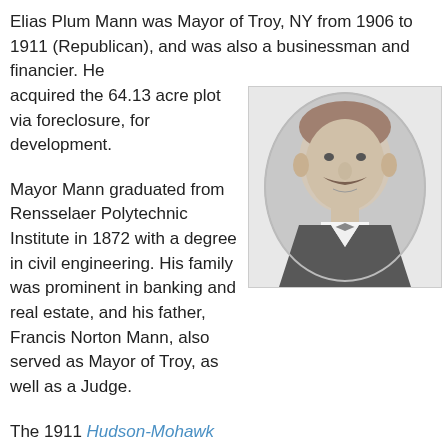Elias Plum Mann was Mayor of Troy, NY from 1906 to 1911 (Republican), and was also a businessman and financier. He acquired the 64.13 acre plot via foreclosure, for development.
[Figure (photo): Oval black-and-white portrait photograph of Elias Plum Mann, a man with a mustache wearing a suit and bow tie.]
Mayor Mann graduated from Rensselaer Polytechnic Institute in 1872 with a degree in civil engineering. His family was prominent in banking and real estate, and his father, Francis Norton Mann, also served as Mayor of Troy, as well as a Judge.
The 1911 Hudson-Mohawk Genealogical and Family Memoirs Vol II said that “The name of Mann is the synonym of uprightness and business integrity, and Elias P. Mann is one of the best-known representatives of the family, which